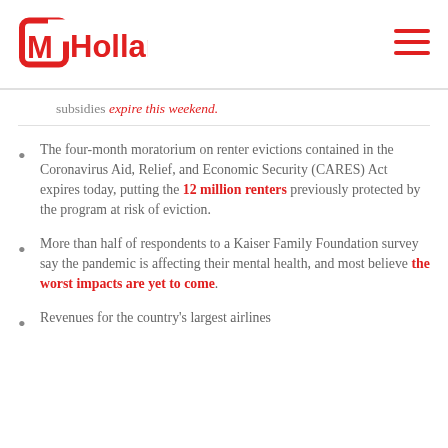MHolland
subsidies expire this weekend.
The four-month moratorium on renter evictions contained in the Coronavirus Aid, Relief, and Economic Security (CARES) Act expires today, putting the 12 million renters previously protected by the program at risk of eviction.
More than half of respondents to a Kaiser Family Foundation survey say the pandemic is affecting their mental health, and most believe the worst impacts are yet to come.
Revenues for the country's largest airlines fell more than 80% in the second quarter...